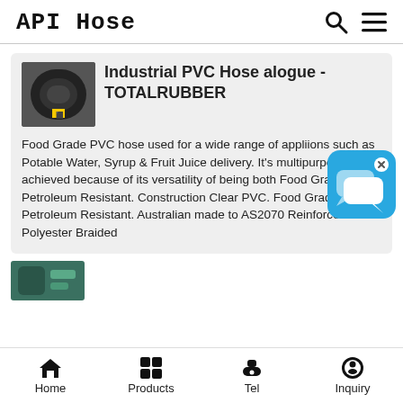API Hose
[Figure (photo): Photo of a black PVC hose end/fitting]
Industrial PVC Hose alogue - TOTALRUBBER
Food Grade PVC hose used for a wide range of appliions such as Potable Water, Syrup & Fruit Juice delivery. It's multipurpose tag is achieved because of its versatility of being both Food Grade & Petroleum Resistant. Construction Clear PVC. Food Grade & Petroleum Resistant. Australian made to AS2070 Reinforcement Polyester Braided
[Figure (screenshot): Blue chat/messaging app icon with speech bubbles]
[Figure (photo): Partial thumbnail of another hose product]
Home  Products  Tel  Inquiry